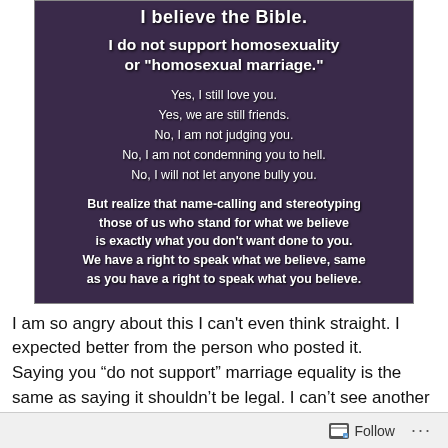[Figure (screenshot): Dark purple/brown background with cross silhouette. Bold white text reading: 'I believe the Bible. I do not support homosexuality or "homosexual marriage." Yes, I still love you. Yes, we are still friends. No, I am not judging you. No, I am not condemning you to hell. No, I will not let anyone bully you. But realize that name-calling and stereotyping those of us who stand for what we believe is exactly what you don't want done to you. We have a right to speak what we believe, same as you have a right to speak what you believe.']
I am so angry about this I can't even think straight. I expected better from the person who posted it. Saying you “do not support” marriage equality is the same as saying it shouldn’t be legal. I can’t see another way to interpret it. That means you’re saying they should not be able to marry the person of their choosing, that they
Follow ...